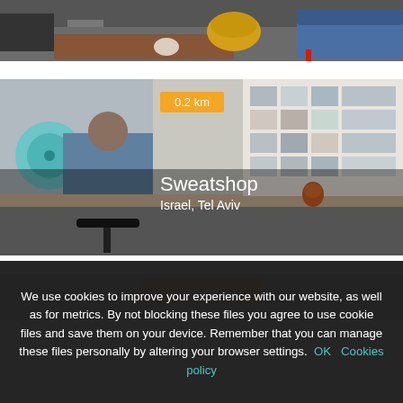[Figure (photo): Partial view of a living room interior with dark floor, colorful furniture including yellow basket/lamp and blue sofa]
[Figure (photo): Photo of a person sitting at a long desk with back turned, working on a laptop, with a wall covered in photos/mood board in background. Badge showing 0.2 km distance. Title: Sweatshop, Location: Israel, Tel Aviv]
[Figure (photo): Partial photo of another location card with 0.3 km badge visible]
We use cookies to improve your experience with our website, as well as for metrics. By not blocking these files you agree to use cookie files and save them on your device. Remember that you can manage these files personally by altering your browser settings. OK Cookies policy